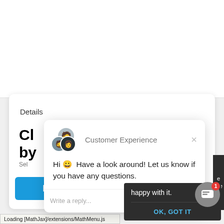[Figure (screenshot): Screenshot of a website with a 'Details' section and a Customer Experience chat popup overlay. The chat popup shows avatar icons, the title 'Customer Experience', a greeting message 'Hi 😀 Have a look around! Let us know if you have any questions.', a reply input field with GIF, emoji, and attachment icons. A dark tooltip panel shows 'happy with it.' and an 'OK, GOT IT' button. A chat FAB button with badge '1' is visible in the bottom right. A 'Buy Now' blue button is at the bottom left. A status bar shows 'Loading [MathJax]/extensions/MathMenu.js'.]
Details
Cl
by
Sel
$4
Buy Now
Customer Experience
Hi 😀  Have a look around! Let us know if you have any questions.
Write a reply...
happy with it.
OK, GOT IT
Loading [MathJax]/extensions/MathMenu.js